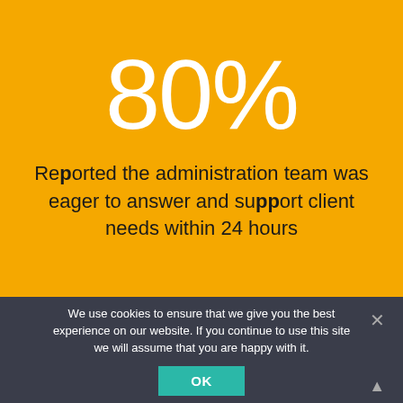80%
Reported the administration team was eager to answer and support client needs within 24 hours
We use cookies to ensure that we give you the best experience on our website. If you continue to use this site we will assume that you are happy with it.
OK